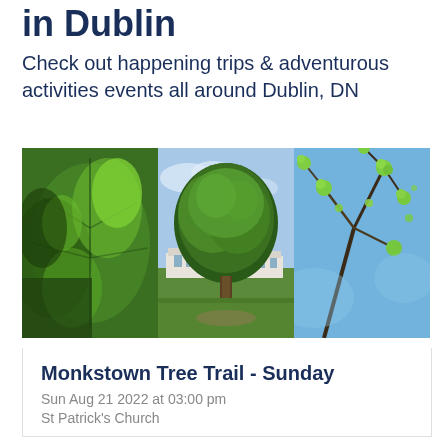in Dublin
Check out happening trips & adventurous activities events all around Dublin, DN
[Figure (photo): Three-panel photo collage of trees in Dublin: left panel shows large green chestnut leaves backlit by sun, center panel shows a large mature tree in a park with white Georgian buildings behind it, right panel shows close-up of green tree buds and branches against a blue sky.]
Monkstown Tree Trail - Sunday
Sun Aug 21 2022 at 03:00 pm
St Patrick's Church